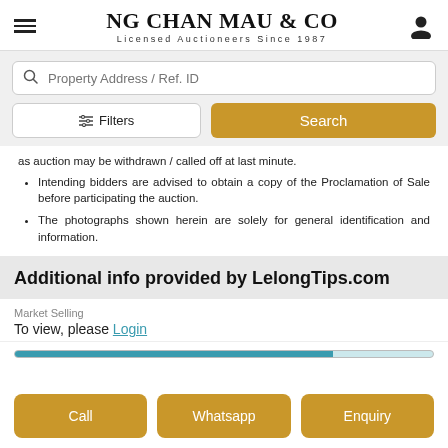[Figure (screenshot): Website header for NG CHAN MAU & CO, Licensed Auctioneers Since 1987, with hamburger menu and user icon]
[Figure (screenshot): Search bar with 'Property Address / Ref. ID' placeholder, Filters button, and Search button]
as auction may be withdrawn / called off at last minute.
Intending bidders are advised to obtain a copy of the Proclamation of Sale before participating the auction.
The photographs shown herein are solely for general identification and information.
Additional info provided by LelongTips.com
Market Selling
To view, please Login
[Figure (infographic): Progress bar showing teal/blue fill at approximately 76%]
Call | Whatsapp | Enquiry